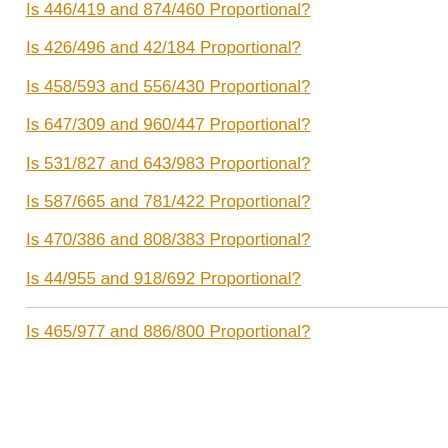Is 446/419 and 874/460 Proportional?
Is 426/496 and 42/184 Proportional?
Is 458/593 and 556/430 Proportional?
Is 647/309 and 960/447 Proportional?
Is 531/827 and 643/983 Proportional?
Is 587/665 and 781/422 Proportional?
Is 470/386 and 808/383 Proportional?
Is 44/955 and 918/692 Proportional?
Is 465/977 and 886/800 Proportional?